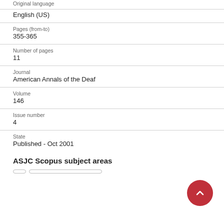Original language
English (US)
Pages (from-to)
355-365
Number of pages
11
Journal
American Annals of the Deaf
Volume
146
Issue number
4
State
Published - Oct 2001
ASJC Scopus subject areas